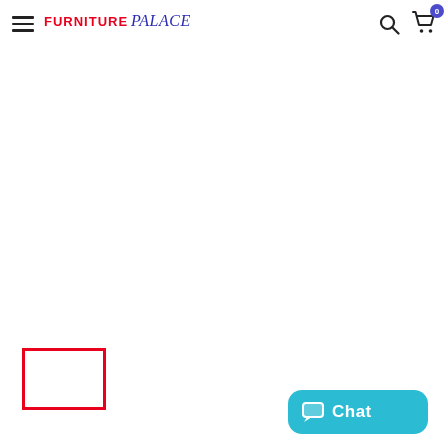Furniture Palace - navigation header with hamburger menu, logo, search icon, and cart icon with badge 0
[Figure (other): Red outlined rectangle (empty image placeholder) in lower left area]
[Figure (other): Teal/cyan Chat button with speech bubble icon in lower right area]